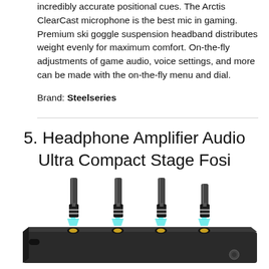incredibly accurate positional cues. The Arctis ClearCast microphone is the best mic in gaming. Premium ski goggle suspension headband distributes weight evenly for maximum comfort. On-the-fly adjustments of game audio, voice settings, and more can be made with the on-the-fly menu and dial.
Brand: Steelseries
5. Headphone Amplifier Audio Ultra Compact Stage Fosi
[Figure (photo): Photo of a Fosi Audio headphone amplifier device (dark rectangular box) with four 3.5mm audio jack cables plugged in from the top, shown with cyan/teal downward arrows indicating the direction of insertion.]